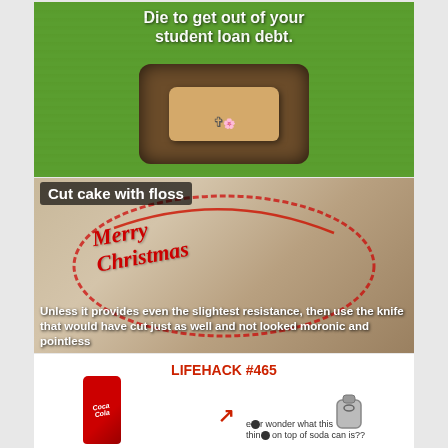[Figure (photo): Grass background with a grave hole containing a small wooden coffin with a figure on it. Text overlay reads 'Die to get out of your student loan debt.']
[Figure (photo): Image of a round cake with red script writing reading 'Merry Christmas' with floss around it. Text overlays read 'Cut cake with floss' and 'Unless it provides even the slightest resistance, then use the knife that would have cut just as well and not looked moronic and pointless']
[Figure (infographic): Lifehack #465 showing a Coca-Cola can with an arrow pointing to the tab, and a separate image of the tab. Caption: 'ever wonder what this thing on top of soda can is??']